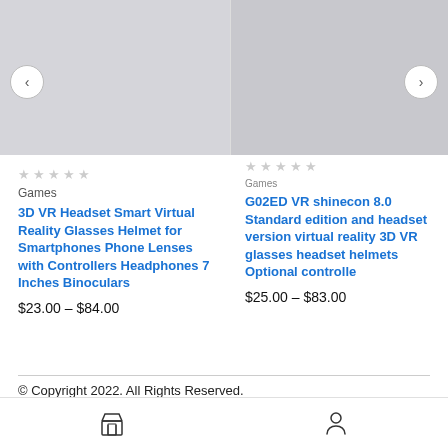[Figure (photo): Product images for two VR headset products shown in a carousel, with navigation arrows on left and right]
★ ★ ★ ★ ★
Games
3D VR Headset Smart Virtual Reality Glasses Helmet for Smartphones Phone Lenses with Controllers Headphones 7 Inches Binoculars
$23.00 – $84.00
★ ★ ★ ★ ★
Games
G02ED VR shinecon 8.0 Standard edition and headset version virtual reality 3D VR glasses headset helmets Optional controlle
$25.00 – $83.00
© Copyright 2022. All Rights Reserved.